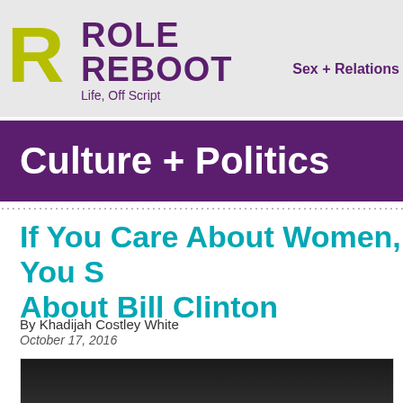ROLE REBOOT Life, Off Script | Sex + Relations
Culture + Politics
If You Care About Women, You S[hould Care] About Bill Clinton
By Khadijah Costley White
October 17, 2016
[Figure (photo): Photo of a person with gray/white hair against a dark background]